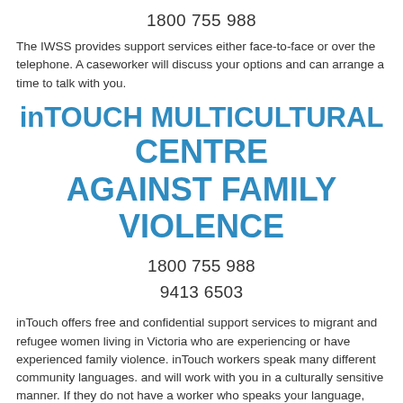1800 755 988
The IWSS provides support services either face-to-face or over the telephone. A caseworker will discuss your options and can arrange a time to talk with you.
inTOUCH MULTICULTURAL CENTRE AGAINST FAMILY VIOLENCE
1800 755 988
9413 6503
inTouch offers free and confidential support services to migrant and refugee women living in Victoria who are experiencing or have experienced family violence. inTouch workers speak many different community languages. and will work with you in a culturally sensitive manner. If they do not have a worker who speaks your language, they will use interpreters to make sure that you are truly heard and understood.